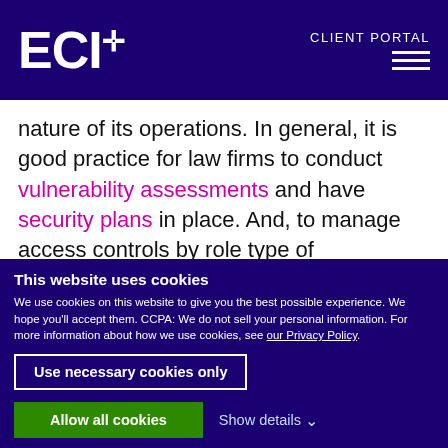ECI+ CLIENT PORTAL
nature of its operations. In general, it is good practice for law firms to conduct vulnerability assessments and have security plans in place. And, to manage access controls by role type of employees. With these, your firm is prepared to avoid being attacked and respond when disaster strikes, if needed.
This website uses cookies
We use cookies on this website to give you the best possible experience. We hope you'll accept them. CCPA: We do not sell your personal information. For more information about how we use cookies, see our Privacy Policy.
Use necessary cookies only
Allow all cookies
Show details